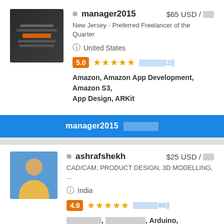manager2015 — $65 USD / hr — New Jersey - Preferred Freelancer of the Quarter — United States — Rating: 5.0 — Skills: Amazon, Amazon App Development, Amazon S3, App Design, ARKit
ashrafshekh — $25 USD / hr — CAD/CAM, PRODUCT DESIGN, 3D MODELLING, ... — India — Rating: 4.9 — Skills: [redacted], [redacted], Arduino, Assembly, Building Design